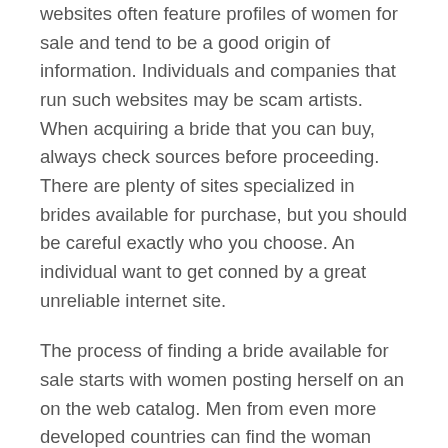websites often feature profiles of women for sale and tend to be a good origin of information. Individuals and companies that run such websites may be scam artists. When acquiring a bride that you can buy, always check sources before proceeding. There are plenty of sites specialized in brides available for purchase, but you should be careful exactly who you choose. An individual want to get conned by a great unreliable internet site.
The process of finding a bride available for sale starts with women posting herself on an on the web catalog. Men from even more developed countries can find the woman they really want to marry from the list. Mail-order brides are normally intent on marriage, plus the men can spend as much as $50, 1000 to find the best wife. This practice is indeed common that it began around the American frontier during the 1800s. Men in the Eastern Us migrated western world seeking economical reliability and